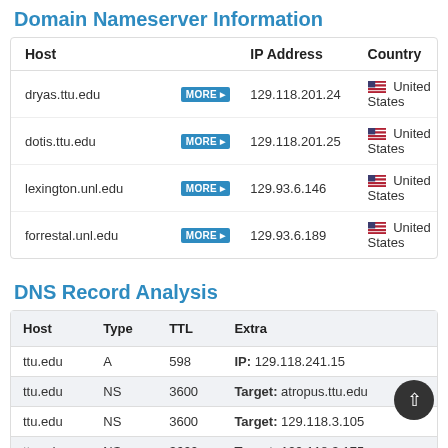Domain Nameserver Information
| Host |  | IP Address | Country |
| --- | --- | --- | --- |
| dryas.ttu.edu | MORE | 129.118.201.24 | United States |
| dotis.ttu.edu | MORE | 129.118.201.25 | United States |
| lexington.unl.edu | MORE | 129.93.6.146 | United States |
| forrestal.unl.edu | MORE | 129.93.6.189 | United States |
DNS Record Analysis
| Host | Type | TTL | Extra |
| --- | --- | --- | --- |
| ttu.edu | A | 598 | IP: 129.118.241.15 |
| ttu.edu | NS | 3600 | Target: atropus.ttu.edu |
| ttu.edu | NS | 3600 | Target: 129.118.3.105 |
| ttu.edu | NS | 3600 | Target: 129.118.3.175 |
| ttu.edu | NS | 3600 | Target: anteros.ttu.edu |
| ttu.edu | NS | 3600 | Target: asbeton.ttu.edu |